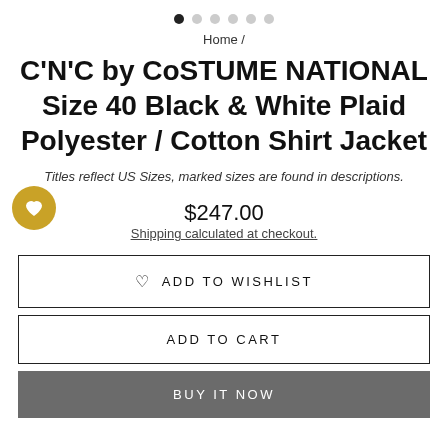[Figure (other): Carousel navigation dots, first dot filled black, five dots gray]
Home /
C'N'C by CoSTUME NATIONAL Size 40 Black & White Plaid Polyester / Cotton Shirt Jacket
Titles reflect US Sizes, marked sizes are found in descriptions.
$247.00
Shipping calculated at checkout.
♡ ADD TO WISHLIST
ADD TO CART
BUY IT NOW